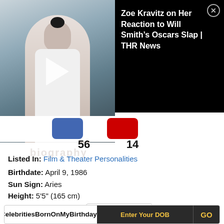[Figure (photo): Photo of Zoe Kravitz with a video overlay. Left side shows a person in a white turtleneck against a blue-grey background with a play button. Right side shows a black video card titled 'Zoe Kravitz on Her Reaction to Will Smith's Oscars Slap | THR News' with a close (X) button.]
56   14
Listed In: Film & Theater Personalities
Birthdate: April 9, 1986
Sun Sign: Aries
Height: 5'5" (165 cm)
Recommended Lists:   Houston, Texas
Celebrities Born On My Birthday?   Enter Your DOB   GO